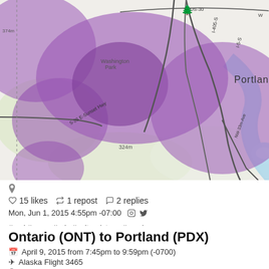[Figure (map): Map of Portland Oregon area showing purple shaded coverage/density regions around Portland, with landmarks including Portland, Mt Tabor Park, Ross Island, Reed College, SE Powell Blvd, Washington Park, Sandy Creek, and highway labels (I-405-S, I-5-S, I-5-N, 30-US-30, etc.). A green pin marker is placed in the east Portland area. The map uses a light base style with purple overlaid shading.]
📍
☆ 15 likes   ↺ 1 repost   ○ 2 replies
Mon, Jun 1, 2015 4:55pm -07:00    #esri #maps #pdx #saltandstraw #arcgis
Ontario (ONT) to Portland (PDX)
📅 April 9, 2015 from 7:45pm to 9:59pm (-0700)
✈ Alaska Flight 3465
📍 Portland Intl in Portland
permalink